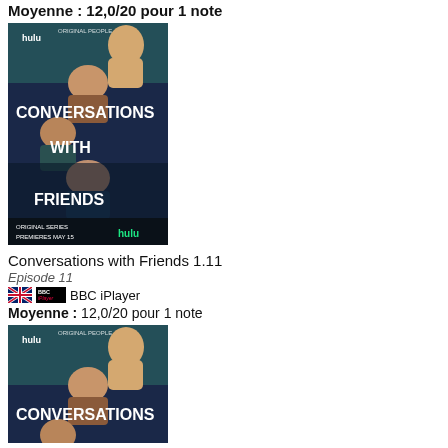Moyenne : 12,0/20 pour 1 note
[Figure (photo): Hulu 'Conversations with Friends' original series promotional poster showing four people lying down, with text 'hulu CONVERSATIONS WITH FRIENDS ORIGINAL SERIES PREMIERES MAY 15 hulu']
Conversations with Friends 1.11
Episode 11
BBC iPlayer
Moyenne : 12,0/20 pour 1 note
[Figure (photo): Hulu 'Conversations with Friends' original series promotional poster (partial, cut off at bottom), showing four people lying down, with text 'hulu CONVERSATIONS WITH']